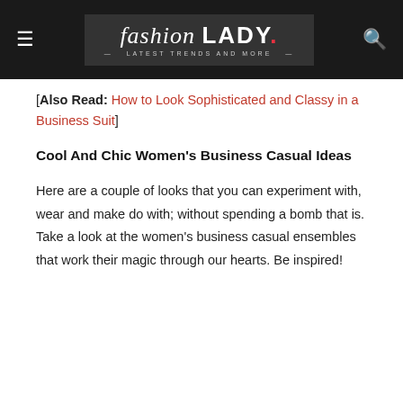fashion LADY — Latest Trends and More
[Also Read: How to Look Sophisticated and Classy in a Business Suit]
Cool And Chic Women's Business Casual Ideas
Here are a couple of looks that you can experiment with, wear and make do with; without spending a bomb that is. Take a look at the women's business casual ensembles that work their magic through our hearts. Be inspired!